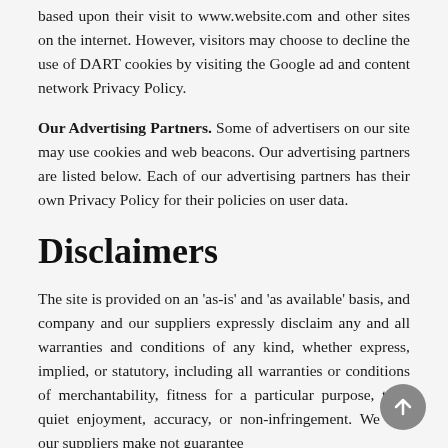based upon their visit to www.website.com and other sites on the internet. However, visitors may choose to decline the use of DART cookies by visiting the Google ad and content network Privacy Policy.
Our Advertising Partners. Some of advertisers on our site may use cookies and web beacons. Our advertising partners are listed below. Each of our advertising partners has their own Privacy Policy for their policies on user data.
Disclaimers
The site is provided on an 'as-is' and 'as available' basis, and company and our suppliers expressly disclaim any and all warranties and conditions of any kind, whether express, implied, or statutory, including all warranties or conditions of merchantability, fitness for a particular purpose, title, quiet enjoyment, accuracy, or non-infringement. We and our suppliers make not guarantee